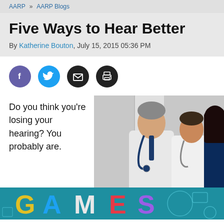AARP » AARP Blogs
Five Ways to Hear Better
By Katherine Bouton, July 15, 2015 05:36 PM
[Figure (infographic): Social sharing buttons: Facebook (purple), Twitter (blue), Email (black), Print (black)]
Do you think you're losing your hearing? You probably are.
[Figure (photo): Two doctors in white coats with stethoscopes consulting with a patient]
[Figure (infographic): AARP colorful bottom banner with icons and large text overlay]